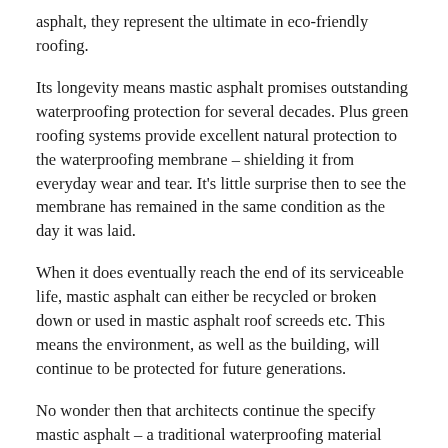asphalt, they represent the ultimate in eco-friendly roofing.
Its longevity means mastic asphalt promises outstanding waterproofing protection for several decades. Plus green roofing systems provide excellent natural protection to the waterproofing membrane – shielding it from everyday wear and tear. It's little surprise then to see the membrane has remained in the same condition as the day it was laid.
When it does eventually reach the end of its serviceable life, mastic asphalt can either be recycled or broken down or used in mastic asphalt roof screeds etc. This means the environment, as well as the building, will continue to be protected for future generations.
No wonder then that architects continue the specify mastic asphalt – a traditional waterproofing material proven throughout the centuries of use and...